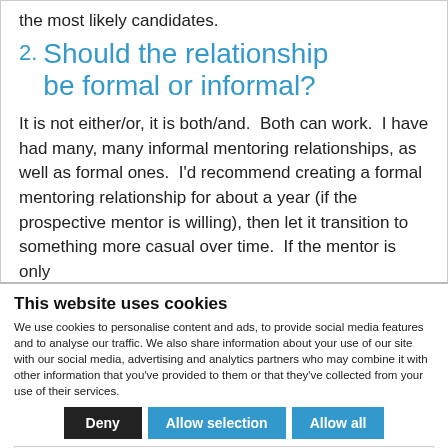the most likely candidates.
2. Should the relationship be formal or informal?
It is not either/or, it is both/and.  Both can work.  I have had many, many informal mentoring relationships, as well as formal ones.  I'd recommend creating a formal mentoring relationship for about a year (if the prospective mentor is willing), then let it transition to something more casual over time.  If the mentor is only
This website uses cookies
We use cookies to personalise content and ads, to provide social media features and to analyse our traffic. We also share information about your use of our site with our social media, advertising and analytics partners who may combine it with other information that you've provided to them or that they've collected from your use of their services.